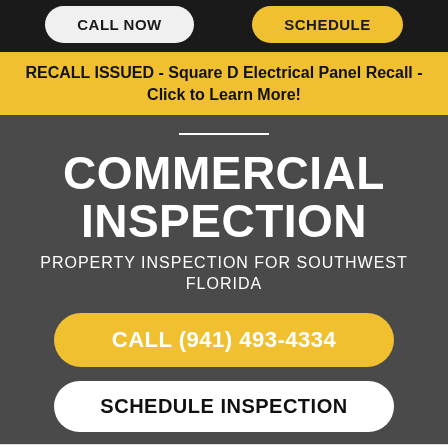CALL NOW | SCHEDULE
RECALL ISSUED - Square D Electrical Panel Recall - Click to Learn More!
COMMERCIAL INSPECTION
PROPERTY INSPECTION FOR SOUTHWEST FLORIDA
CALL (941) 493-4334
SCHEDULE INSPECTION
OPTIMIZED BY NitroPack.io — Automated page speed optimizations for fast site performance